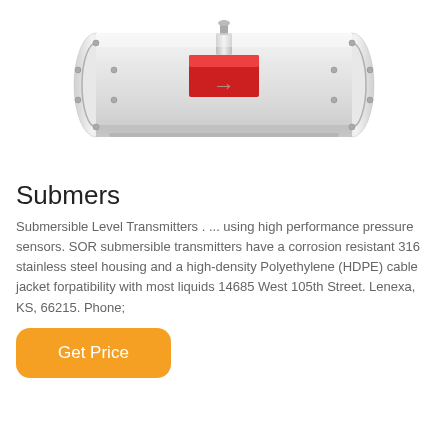[Figure (photo): Submersible level transmitter product photo — a cylindrical stainless steel device with flanged ends and a red-accented center section, shown horizontally against a white background.]
Submers
Submersible Level Transmitters . ... using high performance pressure sensors. SOR submersible transmitters have a corrosion resistant 316 stainless steel housing and a high-density Polyethylene (HDPE) cable jacket forpatibility with most liquids 14685 West 105th Street. Lenexa, KS, 66215. Phone;
Get Price